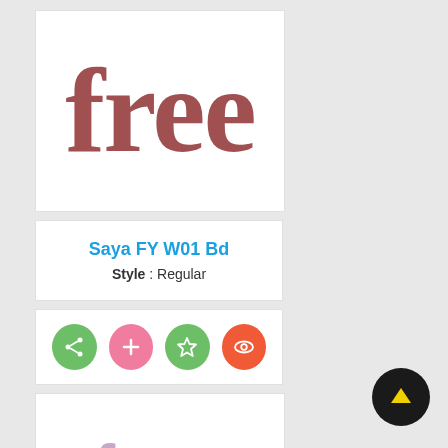[Figure (screenshot): Large bold 'free' text rendered in a serif font with reddish-brown color, shown as font preview in a white card]
Saya FY W01 Bd
Style : Regular
[Figure (screenshot): Row of four circular icon buttons: green share icon, pink plus icon, green star icon, red/orange eye icon]
[Figure (screenshot): Large handwritten-style 'free' text rendered in light lavender/mauve color, shown as another font preview]
[Figure (screenshot): Black circular FAB button with yellow upward arrow icon in lower right corner]